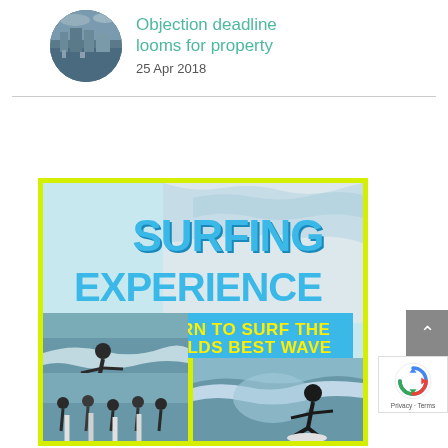[Figure (photo): Circular thumbnail image showing a marina or waterfront scene with boats and buildings]
Objection deadline looms for property
25 Apr 2018
[Figure (illustration): Surfing Experience advertisement poster with yellow border. Text reads: SURFING EXPERIENCE - LEARN TO SURF THE WORLDS BEST WAVE. Contains multiple photos of surfers on waves.]